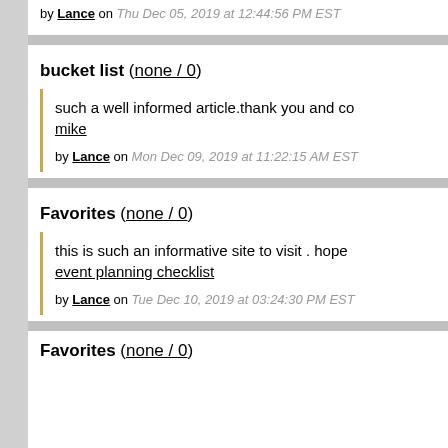by Lance on Thu Dec 05, 2019 at 12:44:56 PM EST
bucket list (none / 0)
such a well informed article.thank you and co... mike
by Lance on Mon Dec 09, 2019 at 11:22:15 AM EST
Favorites (none / 0)
this is such an informative site to visit . hope... event planning checklist
by Lance on Tue Dec 10, 2019 at 03:24:30 PM EST
Favorites (none / 0)